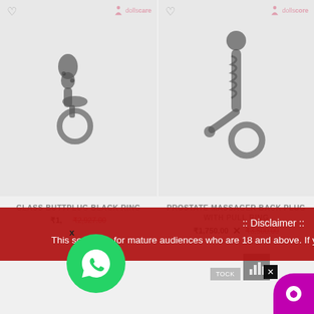[Figure (photo): Product image of glass butt plug black ring on grey background]
GLASS BUTTPLUG BLACK RING
₹1,... ₹2,927.00
[Figure (photo): Product image of prostate massager back plug with pull ring on grey background]
PROSTATE MASSAGER BACK PLUG WITH PULL RING
₹1,750.00  ₹3,500.00
[Figure (other): WhatsApp chat bubble overlay with green circle and X close button]
:: Disclaimer ::
This section is for mature audiences who are 18 and above. If you are below 18, please close the website.